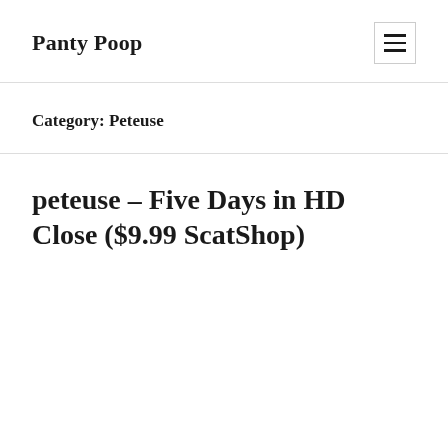Panty Poop
Category: Peteuse
peteuse – Five Days in HD Close ($9.99 ScatShop)